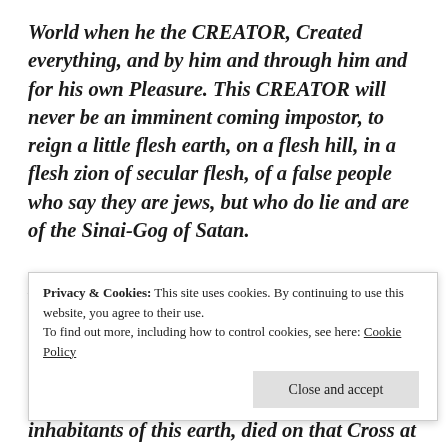World when he the CREATOR, Created everything, and by him and through him and for his own Pleasure. This CREATOR will never be an imminent coming impostor, to reign a little flesh earth, on a flesh hill, in a flesh zion of secular flesh, of a false people who say they are jews, but who do lie and are of the Sinai-Gog of Satan.

He, the Everlasting Holy Covenant, made from the Foundation of this world, Already Came, set
Privacy & Cookies: This site uses cookies. By continuing to use this website, you agree to their use.
To find out more, including how to control cookies, see here: Cookie Policy
[Close and accept]
inhabitants of this earth, died on that Cross at